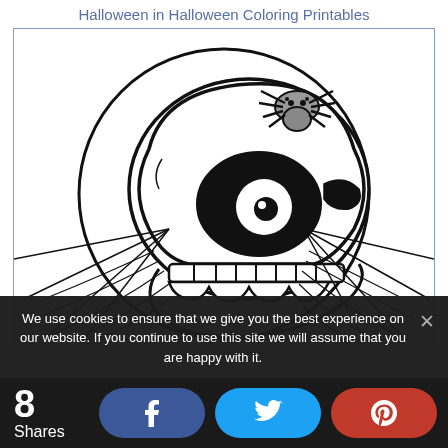Halloween in Halloween Coloring Printables
[Figure (illustration): Black and white Halloween coloring page illustration showing a skull with a large eye socket, teeth, and a spider sitting on top of the skull, with spider webs in the lower corners, set against a circular moon background.]
We use cookies to ensure that we give you the best experience on our website. If you continue to use this site we will assume that you are happy with it.
8 Shares